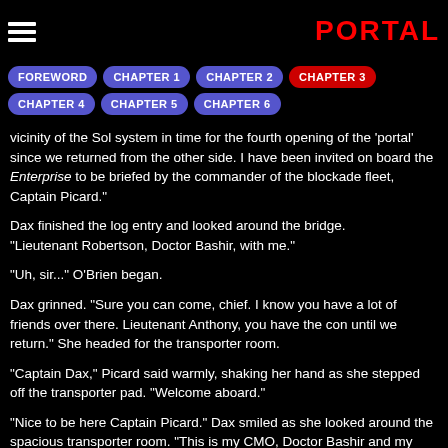PORTAL
FOREWORD | CHAPTER 1 | CHAPTER 2 | CHAPTER 3 | CHAPTER 4 | CHAPTER 5 | CHAPTER 6
vicinity of the Sol system in time for the fourth opening of the 'portal' since we returned from the other side. I have been invited on board the Enterprise to be briefed by the commander of the blockade fleet, Captain Picard."
Dax finished the log entry and looked around the bridge. "Lieutenant Robertson, Doctor Bashir, with me."
"Uh, sir..." O'Brien began.
Dax grinned. "Sure you can come, chief. I know you have a lot of friends over there. Lieutenant Anthony, you have the con until we return." She headed for the transporter room.
"Captain Dax," Picard said warmly, shaking her hand as she stepped off the transporter pad. "Welcome aboard."
"Nice to be here Captain Picard." Dax smiled as she looked around the spacious transporter room. "This is my CMO, Doctor Bashir and my Tactical and Helm officer Lieutenant Sean Robertson."